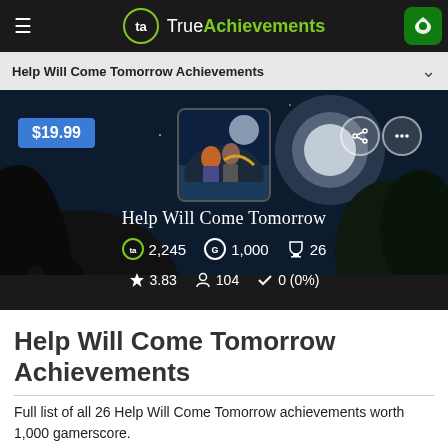TrueAchievements
Help Will Come Tomorrow Achievements
[Figure (screenshot): Hero banner for Help Will Come Tomorrow game showing night sky with moon, game cover art, price badge $19.99, and game stats: 2,245 TA score, 1,000 Gamerscore, 26 achievements, 3.83 rating, 104 players, 0 (0%) completion]
Help Will Come Tomorrow Achievements
Full list of all 26 Help Will Come Tomorrow achievements worth 1,000 gamerscore.